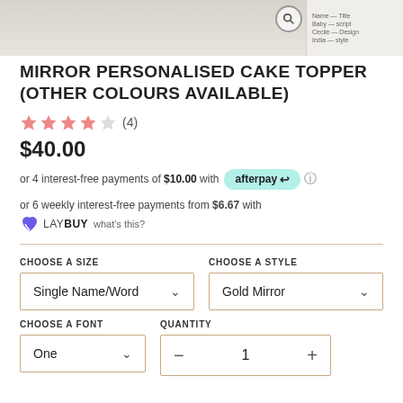[Figure (photo): Product photo strip at top showing a white personalised cake topper. Right side shows a panel with style/design options text.]
MIRROR PERSONALISED CAKE TOPPER (OTHER COLOURS AVAILABLE)
★★★★☆ (4)
$40.00
or 4 interest-free payments of $10.00 with afterpay ⓘ
or 6 weekly interest-free payments from $6.67 with LAYBUY what's this?
CHOOSE A SIZE
CHOOSE A STYLE
Single Name/Word
Gold Mirror
CHOOSE A FONT
QUANTITY
One
1